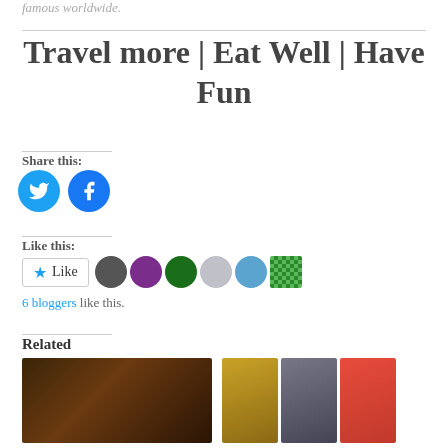famous worldwide.
Travel more | Eat Well | Have Fun
Share this:
[Figure (illustration): Twitter and Facebook share buttons as circular blue icons]
Like this:
[Figure (illustration): Like button with star icon and 6 blogger avatar thumbnails]
6 bloggers like this.
Related
[Figure (photo): Two related article thumbnail images showing food and people]